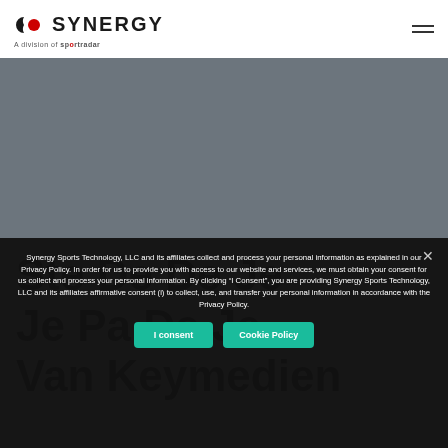[Figure (logo): Synergy logo with half-circle icon and text 'SYNERGY A division of sportradar']
[Figure (other): Gray hero/banner area placeholder]
Ste De De Je Je Pa... Van Keymedien (background watermark text)
Synergy Sports Technology, LLC and its affiliates collect and process your personal information as explained in our Privacy Policy. In order for us to provide you with access to our website and services, we must obtain your consent for us collect and process your personal information. By clicking “I Consent”, you are providing Synergy Sports Technology, LLC and its affiliates affirmative consent (i) to collect, use, and transfer your personal information in accordance with the Privacy Policy.
I consent
Cookie Policy